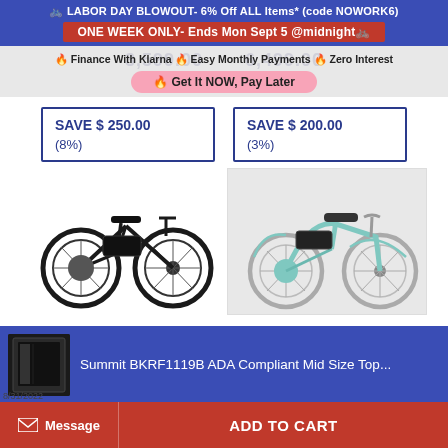🚲 LABOR DAY BLOWOUT- 6% Off ALL Items* (code NOWORK6)
ONE WEEK ONLY- Ends Mon Sept 5 @midnight🚲
🔥 Finance With Klarna 🔥 Easy Monthly Payments 🔥 Zero Interest
🔥 Get It NOW, Pay Later
SAVE $ 250.00
(8%)
SAVE $ 200.00
(3%)
[Figure (photo): Black electric mountain bike on white background]
[Figure (photo): Teal/mint electric cruiser bike on light background]
Summit BKRF1119B ADA Compliant Mid Size Top...
Message
ADD TO CART
8/31/2022